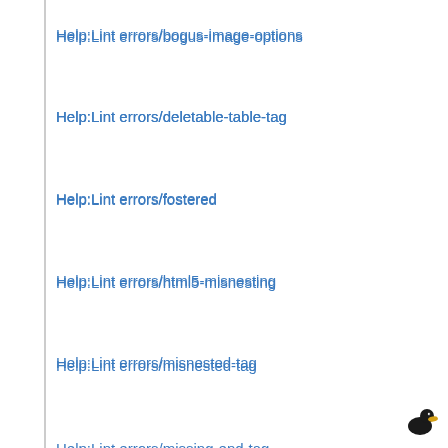Help:Lint errors/bogus-image-options
Help:Lint errors/deletable-table-tag
Help:Lint errors/fostered
Help:Lint errors/html5-misnesting
Help:Lint errors/misnested-tag
Help:Lint errors/missing-end-tag
Help:Lint errors/multi-colon-escape
Help:Lint errors/multiline-html-table-in-list
Help:Lint errors/multiple-unclosed-formatting-tags
Help:Lint errors/obsolete-tag
Help:Lint errors/pwrap-bug-workaround
Help:Lint errors/self-closed-tag